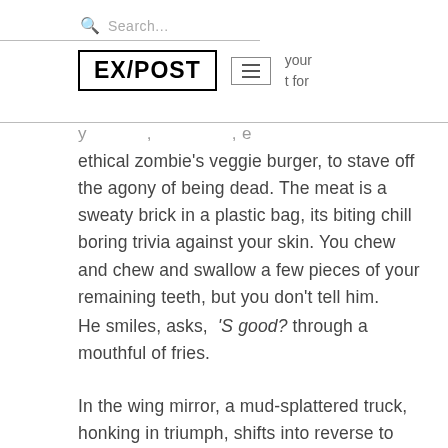Search...
[Figure (logo): EX/POST logo with hamburger menu icon and partial navigation text 'your t for e']
ethical zombie's veggie burger, to stave off the agony of being dead. The meat is a sweaty brick in a plastic bag, its biting chill boring trivia against your skin. You chew and chew and swallow a few pieces of your remaining teeth, but you don't tell him.
He smiles, asks, ‘S good? through a mouthful of fries.
In the wing mirror, a mud-splattered truck, honking in triumph, shifts into reverse to run the other zombie over—